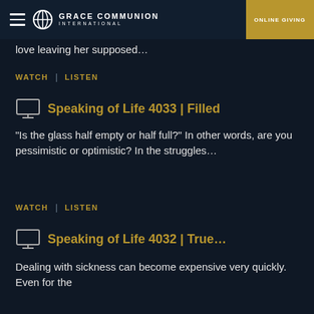GRACE COMMUNION INTERNATIONAL | ONLINE GIVING
love leaving her supposed…
WATCH | LISTEN
Speaking of Life 4033 | Filled
"Is the glass half empty or half full?" In other words, are you pessimistic or optimistic? In the struggles…
WATCH | LISTEN
Speaking of Life 4032 | True…
Dealing with sickness can become expensive very quickly. Even for the